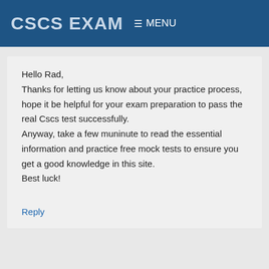CSCS EXAM  ≡ MENU
Hello Rad,
Thanks for letting us know about your practice process, hope it be helpful for your exam preparation to pass the real Cscs test successfully.
Anyway, take a few muninute to read the essential information and practice free mock tests to ensure you get a good knowledge in this site.
Best luck!
Reply